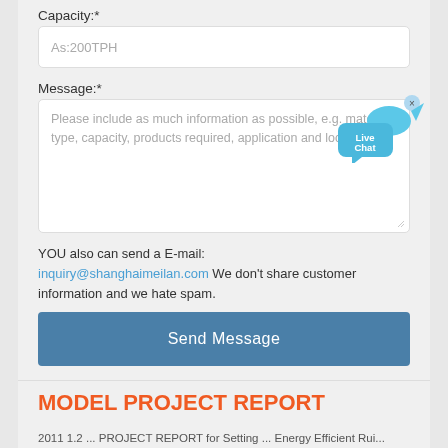Capacity:*
[Figure (screenshot): Text input field with placeholder text 'As:200TPH']
Message:*
[Figure (screenshot): Textarea input with placeholder: 'Please include as much information as possible, e.g. material type, capacity, products required, application and location.']
YOU also can send a E-mail: inquiry@shanghaimeilan.com We don't share customer information and we hate spam.
[Figure (screenshot): Blue 'Send Message' button]
MODEL PROJECT REPORT
2011 1.2... PROJECT REPORT for Setting ... Energy Efficient Rui...